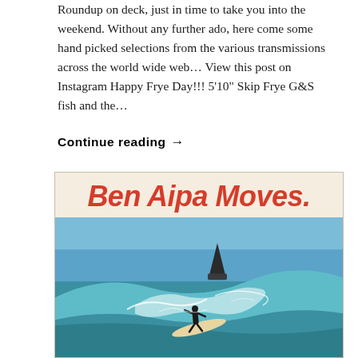Roundup on deck, just in time to take you into the weekend. Without any further ado, here come some hand picked selections from the various transmissions across the world wide web… View this post on Instagram Happy Frye Day!!! 5'10" Skip Frye G&S fish and the…
Continue reading →
[Figure (illustration): Vintage surf advertisement showing 'Ben Aipa Moves.' title in large red italic text on a cream background, with a photo below of a surfer riding a wave with a surfboard fin visible in the air above.]